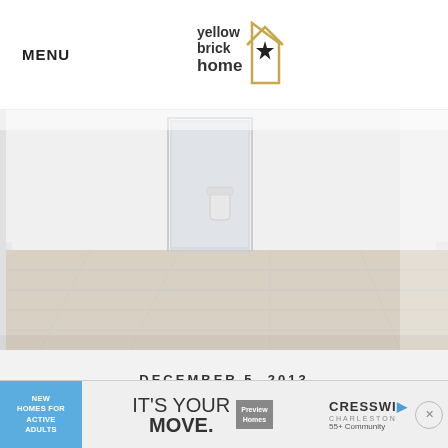MENU
[Figure (logo): Yellow Brick Home logo with house outline and star]
[Figure (photo): Bright white empty room interior with light wood flooring, white walls, and doorway leading to a bathroom]
DECEMBER 5,  2013
CLOSING THE BASEMENT
[Figure (other): Advertisement banner: New Homes for Active Adults / IT'S YOUR MOVE. / Preview Homes / CRESSWIND Charleston 55+ Community]